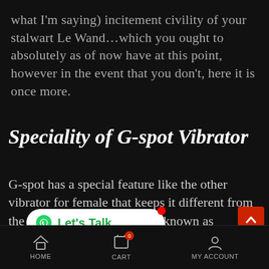what I'm saying) incitement civility of your stalwart Le Wand…which you ought to absolutely as of now have at this point, however in the event that you don't, here it is once more.
Speciality of G-spot Vibrator
G-spot has a special feature like the other vibrator for female that keeps it different from the other vibrators. G-spot is known as Grafenberg spot, situated deep inside th...of the vagina. While using the other vibrators for female and dildos, girls cannot feel the
[Figure (other): WhatsApp Let's Talk button overlay with red notification dot]
[Figure (other): Red scroll-to-top arrow button at bottom right]
HOME   CART (0)   MY ACCOUNT